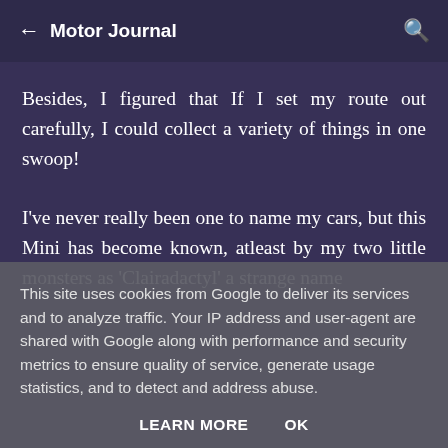← Motor Journal 🔍
Besides, I figured that If I set my route out carefully, I could collect a variety of things in one swoop!
I've never really been one to name my cars, but this Mini has become known, atleast by my two little monsters as 'Clairadactyl' a strange name
This site uses cookies from Google to deliver its services and to analyze traffic. Your IP address and user-agent are shared with Google along with performance and security metrics to ensure quality of service, generate usage statistics, and to detect and address abuse.
LEARN MORE   OK